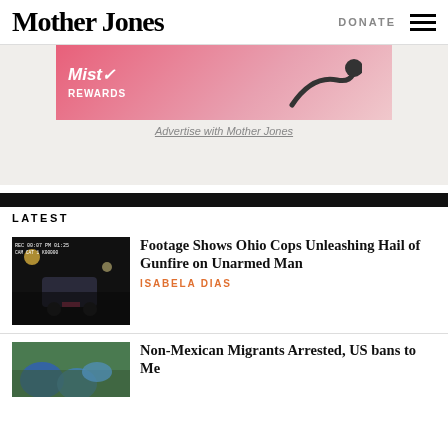Mother Jones | DONATE
[Figure (photo): Advertisement banner with pink/red gradient background, 'Mist Rewards' branding with checkmark logo, and abstract graphic elements]
Advertise with Mother Jones
LATEST
[Figure (photo): Dashboard camera footage of a car at night on a dark road with headlights and street lights visible]
Footage Shows Ohio Cops Unleashing Hail of Gunfire on Unarmed Man
ISABELA DIAS
[Figure (photo): Outdoor scene with people and blue tents visible]
Non-Mexican Migrants Arrested, US bans to Me...